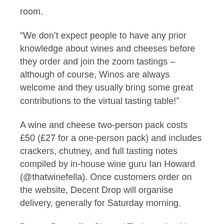room.
“We don’t expect people to have any prior knowledge about wines and cheeses before they order and join the zoom tastings – although of course, Winos are always welcome and they usually bring some great contributions to the virtual tasting table!”
A wine and cheese two-person pack costs £50 (£27 for a one-person pack) and includes crackers, chutney, and full tasting notes compiled by in-house wine guru Ian Howard (@thatwinefella). Once customers order on the website, Decent Drop will organise delivery, generally for Saturday morning.
Decent Drop offer Gin and Tonic tasting kits, as well as gift vouchers, which are perfect for a Christmas. Further announcement...